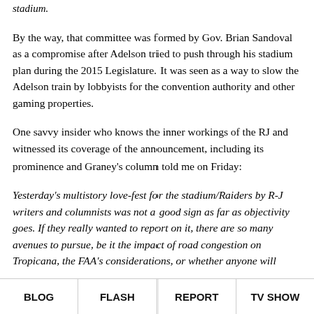stadium.
By the way, that committee was formed by Gov. Brian Sandoval as a compromise after Adelson tried to push through his stadium plan during the 2015 Legislature. It was seen as a way to slow the Adelson train by lobbyists for the convention authority and other gaming properties.
One savvy insider who knows the inner workings of the RJ and witnessed its coverage of the announcement, including its prominence and Graney’s column told me on Friday:
Yesterday’s multistory love-fest for the stadium/Raiders by R-J writers and columnists was not a good sign as far as objectivity goes. If they really wanted to report on it, there are so many avenues to pursue, be it the impact of road congestion on Tropicana, the FAA’s considerations, or whether anyone will
BLOG   FLASH   REPORT   TV SHOW